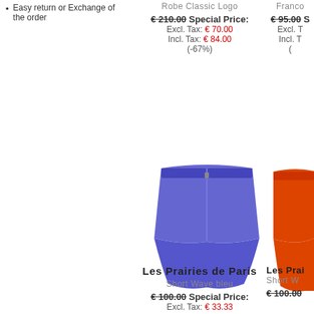Easy return or Exchange of the order
Robe Classic Logo
€ 210.00 Special Price: Excl. Tax: € 70.00 Incl. Tax: € 84.00 (-67%)
[Figure (photo): Blue shorts (Short Wave bleu) from Les Prairies de Paris]
[Figure (photo): Orange shorts (Short Wave) from Les Prairies de Paris, partially visible]
Les Prairies de Paris
Short Wave bleu
€ 100.00 Special Price:
Les Prairies de Paris (partial)
Short W (partial)
€ 100.00 (partial)